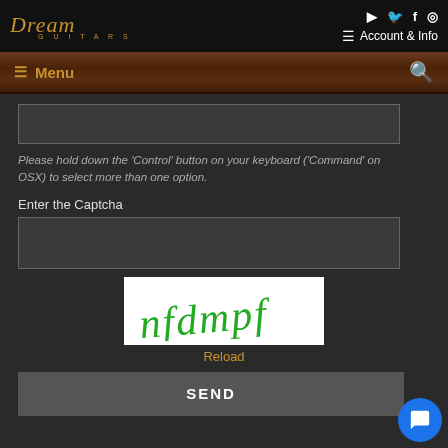[Figure (screenshot): Dream Guitars website header with logo, social media icons (YouTube, Twitter, Facebook, Instagram), Account & Info menu, and wood-textured navigation bar with Menu and search icon]
[Figure (screenshot): A text input field (empty) above helper text]
Please hold down the 'Control' button on your keyboard ('Command' on OSX) to select more than one option.
Enter the Captcha
[Figure (screenshot): Captcha input field (empty text box)]
[Figure (screenshot): Captcha image showing green cursive text 'nfdmpf' on white background]
Reload
[Figure (screenshot): SEND button (dark gray)]